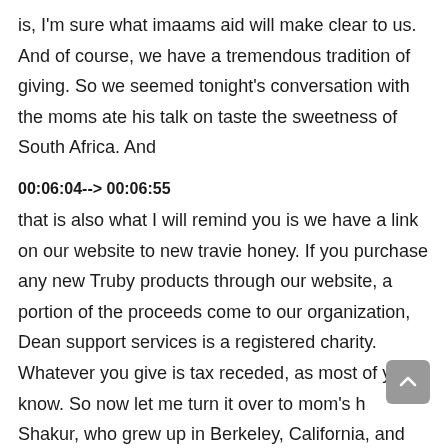is, I'm sure what imaams aid will make clear to us. And of course, we have a tremendous tradition of giving. So we seemed tonight's conversation with the moms ate his talk on taste the sweetness of South Africa. And
00:06:04--> 00:06:55
that is also what I will remind you is we have a link on our website to new travie honey. If you purchase any new Truby products through our website, a portion of the proceeds come to our organization, Dean support services is a registered charity. Whatever you give is tax receded, as most of you know. So now let me turn it over to mom's h Shakur, who grew up in Berkeley, California, and what is one of the founders of zaytuna College established in 2009, and is one of the most dynamic speakers and and he knows who comes to town for